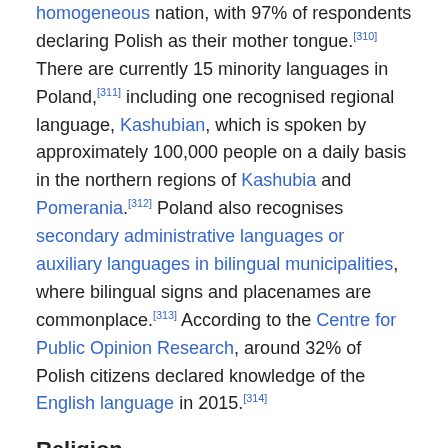homogeneous nation, with 97% of respondents declaring Polish as their mother tongue.[310] There are currently 15 minority languages in Poland,[311] including one recognised regional language, Kashubian, which is spoken by approximately 100,000 people on a daily basis in the northern regions of Kashubia and Pomerania.[312] Poland also recognises secondary administrative languages or auxiliary languages in bilingual municipalities, where bilingual signs and placenames are commonplace.[313] According to the Centre for Public Opinion Research, around 32% of Polish citizens declared knowledge of the English language in 2015.[314]
Religion
[Figure (photo): Black and white photograph of a man (Pope John Paul II) in white papal vestments and cape, standing outdoors with an obelisk and cloudy sky in the background.]